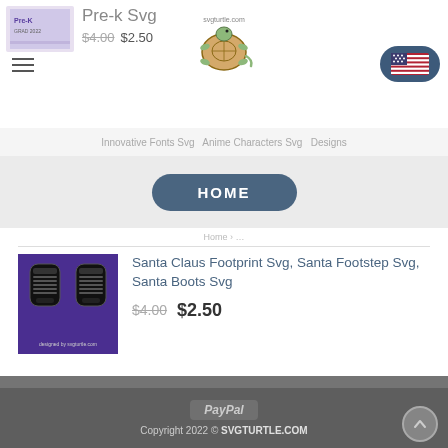Pre-k Svg | $4.00 $2.50 | svgturtle.com
Innovative Fonts Svg Anime Characters Svg Designs
HOME
Santa Claus Footprint Svg, Santa Footstep Svg, Santa Boots Svg
$4.00 $2.50
CONTACT US: SVGTURTLE88@GMAIL.COM
PayPal
Copyright 2022 © SVGTURTLE.COM